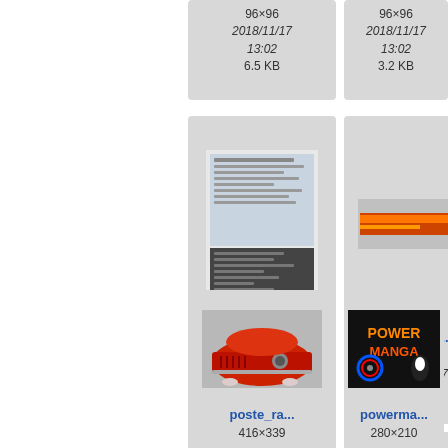[Figure (screenshot): File browser thumbnail cell showing 96×96 image, date 2018/11/17 13:02, size 6.5 KB]
[Figure (screenshot): File browser thumbnail cell showing 96×96 image, date 2018/11/17 13:02, size 3.2 KB]
[Figure (screenshot): Thumbnail of a document/screenshot policeopt..., 600×842, 2018/11/17 13:00, 194.2 KB]
[Figure (screenshot): Thumbnail of an orange bar image policeopt..., 669×97, 2018/11/17 12:57, 45.5 KB]
[Figure (photo): Thumbnail of a retro red radio poste_ra..., 416×339]
[Figure (screenshot): Thumbnail of PowerManga game logo powema..., 280×210]